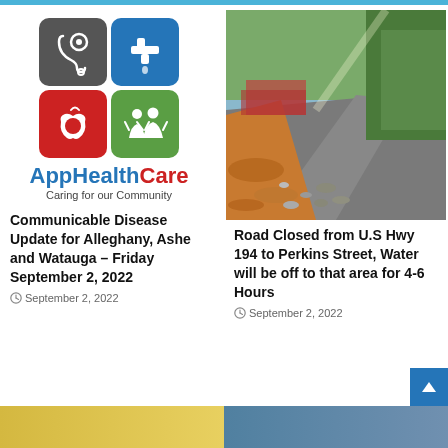[Figure (logo): AppHealthCare logo with 4-square icon grid (stethoscope gray, faucet blue, apple red, people green) with tagline 'Caring for our Community']
Communicable Disease Update for Alleghany, Ashe and Watauga – Friday September 2, 2022
September 2, 2022
[Figure (photo): Outdoor photo of a road with orange muddy water/sediment runoff along the side, trees visible in background]
Road Closed from U.S Hwy 194 to Perkins Street, Water will be off to that area for 4-6 Hours
September 2, 2022